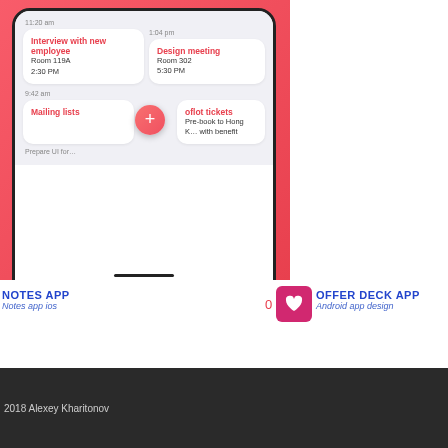[Figure (screenshot): iOS Notes app screenshot showing calendar events: Interview with new employee (Room 119A, 2:30 PM), Design meeting (Room 302, 5:30 PM), Mailing lists, Aeroflot tickets, Pre-book to Hong Kong. Red gradient background with floating action button (+).]
[Figure (screenshot): Android Offer Deck app screenshot showing blue top bar with 'Offer Deck' title, welcome text, and menu items: Account settings, Offers, About. Purple/orange gradient background.]
NOTES APP
Notes app ios
0
OFFER DECK APP
Android app design
2018 Alexey Kharitonov